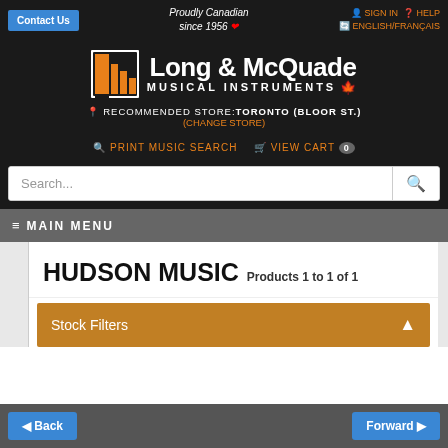Contact Us | Proudly Canadian since 1956 | SIGN IN | HELP | ENGLISH/FRANÇAIS
[Figure (logo): Long & McQuade Musical Instruments logo with orange grid icon]
RECOMMENDED STORE: TORONTO (BLOOR ST.) (CHANGE STORE)
PRINT MUSIC SEARCH  VIEW CART 0
Search...
≡ MAIN MENU
HUDSON MUSIC  Products 1 to 1 of 1
Stock Filters
Back  Forward